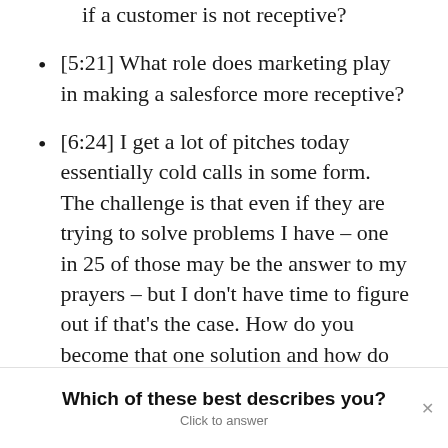if a customer is not receptive?
[5:21] What role does marketing play in making a salesforce more receptive?
[6:24] I get a lot of pitches today essentially cold calls in some form. The challenge is that even if they are trying to solve problems I have – one in 25 of those may be the answer to my prayers – but I don’t have time to figure out if that’s the case. How do you become that one solution and how do
Which of these best describes you?
Click to answer